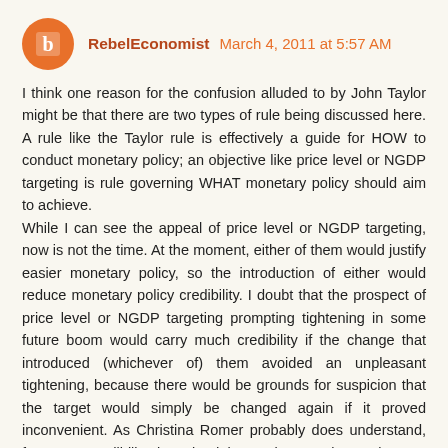RebelEconomist March 4, 2011 at 5:57 AM
I think one reason for the confusion alluded to by John Taylor might be that there are two types of rule being discussed here. A rule like the Taylor rule is effectively a guide for HOW to conduct monetary policy; an objective like price level or NGDP targeting is rule governing WHAT monetary policy should aim to achieve.
While I can see the appeal of price level or NGDP targeting, now is not the time. At the moment, either of them would justify easier monetary policy, so the introduction of either would reduce monetary policy credibility. I doubt that the prospect of price level or NGDP targeting prompting tightening in some future boom would carry much credibility if the change that introduced (whichever of) them avoided an unpleasant tightening, because there would be grounds for suspicion that the target would simply be changed again if it proved inconvenient. As Christina Romer probably does understand, far more credibility is gained by paying a price to keep a promise than by making one which is not binding